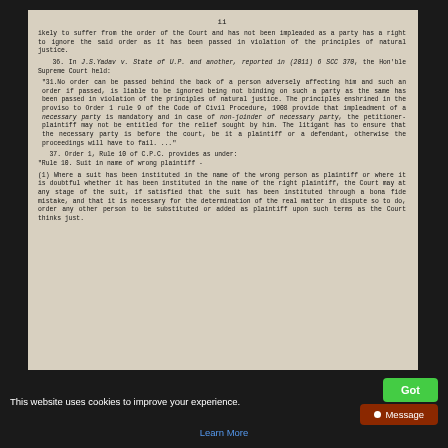ii
ikely to suffer from the order of the Court and has not been impleaded as a party has a right to ignore the said order as it has been passed in violation of the principles of natural justice.
36. In J.S.Yadav v. State of U.P. and another, reported in (2011) 6 SCC 370, the Hon'ble Supreme Court held:
"31.No order can be passed behind the back of a person adversely affecting him and such an order if passed, is liable to be ignored being not binding on such a party as the same has been passed in violation of the principles of natural justice. The principles enshrined in the proviso to Order 1 rule 9 of the Code of Civil Procedure, 1908 provide that impleadment of a necessary party is mandatory and in case of non-joinder of necessary party, the petitioner-plaintiff may not be entitled for the relief sought by him. The litigant has to ensure that the necessary party is before the court, be it a plaintiff or a defendant, otherwise the proceedings will have to fail. ..."
37. Order 1, Rule 10 of C.P.C. provides as under:
"Rule 10. Suit in name of wrong plaintiff -
(1) Where a suit has been instituted in the name of the wrong person as plaintiff or where it is doubtful whether it has been instituted in the name of the right plaintiff, the Court may at any stage of the suit, if satisfied that the suit has been instituted through a bona fide mistake, and that it is necessary for the determination of the real matter in dispute so to do, order any other person to be substituted or added as plaintiff upon such terms as the Court thinks just.